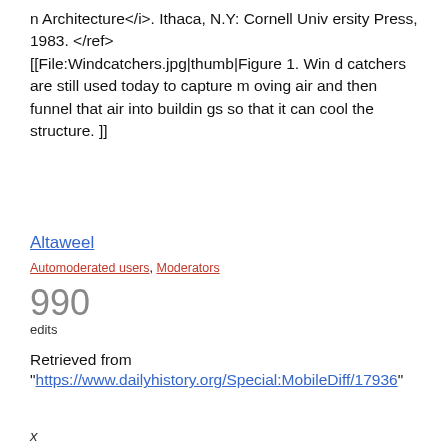n Architecture</i>. Ithaca, N.Y: Cornell University Press, 1983. </ref>
[[File:Windcatchers.jpg|thumb|Figure 1. Wind catchers are still used today to capture moving air and then funnel that air into buildings so that it can cool the structure. ]]
Altaweel
Automoderated users, Moderators
990
edits
Retrieved from
"https://www.dailyhistory.org/Special:MobileDiff/17936"